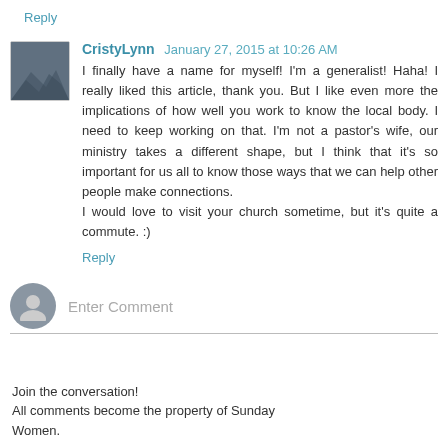Reply
CristyLynn  January 27, 2015 at 10:26 AM
I finally have a name for myself! I'm a generalist! Haha! I really liked this article, thank you. But I like even more the implications of how well you work to know the local body. I need to keep working on that. I'm not a pastor's wife, our ministry takes a different shape, but I think that it's so important for us all to know those ways that we can help other people make connections.
I would love to visit your church sometime, but it's quite a commute. :)
Reply
Enter Comment
Join the conversation!
All comments become the property of Sunday Women.